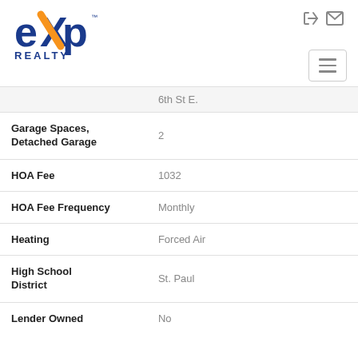[Figure (logo): eXp Realty logo with blue and orange colors]
| Property | Value |
| --- | --- |
|  | 6th St E. |
| Garage Spaces, Detached Garage | 2 |
| HOA Fee | 1032 |
| HOA Fee Frequency | Monthly |
| Heating | Forced Air |
| High School District | St. Paul |
| Lender Owned | No |